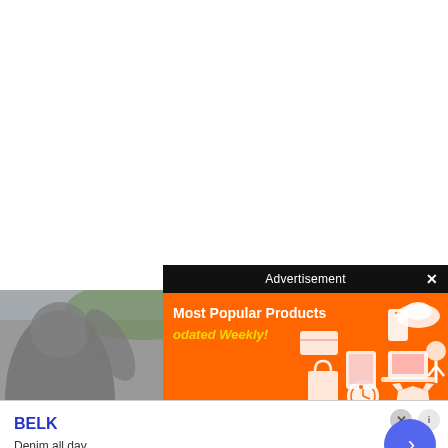[Figure (screenshot): White blank page area at top]
[Figure (photo): Partial photo of crowd of people behind advertisement overlays; blurred background with several individuals visible]
[Figure (screenshot): Orange advertisement popup overlay with black header bar reading 'Advertisement' and close X button. Body shows 'Most Popular Products' in white bold text and 'odated Weekly!' in yellow italic text on orange background with white product icons (phone, laptop, hat, tablet, clock, t-shirt, etc.)]
Advertisement
Most Popular Products
odated Weekly!
[Figure (screenshot): Bottom banner advertisement for BELK department store with blue bold BELK name, tagline 'Denim all day.' and URL 'www.belk.com' in green. Right side has purple/blue circle arrow navigation button. Close X button and info button at top right.]
BELK
Denim all day.
www.belk.com